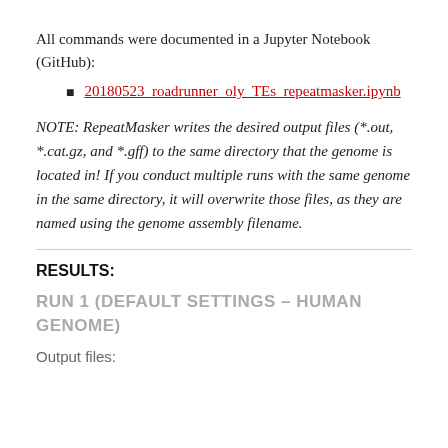All commands were documented in a Jupyter Notebook (GitHub):
20180523_roadrunner_oly_TEs_repeatmasker.ipynb
NOTE: RepeatMasker writes the desired output files (*.out, *.cat.gz, and *.gff) to the same directory that the genome is located in! If you conduct multiple runs with the same genome in the same directory, it will overwrite those files, as they are named using the genome assembly filename.
RESULTS:
RUN 1 (DEFAULT SETTINGS – HUMAN GENOME)
Output files: